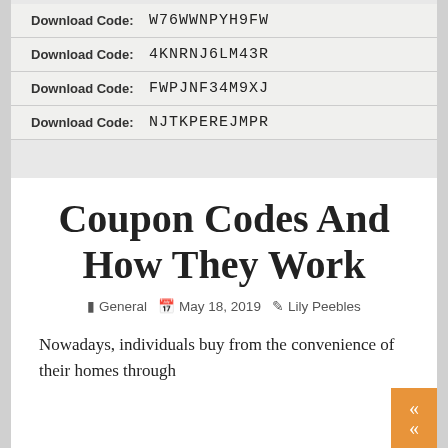[Figure (photo): A photograph showing physical media cases or stickers with printed download codes: W76WWNPYH9FW, 4KNRNJ6LM43R, FWPJNF34M9XJ, NJTKPEREJMPR]
Coupon Codes And How They Work
General  May 18, 2019  Lily Peebles
Nowadays, individuals buy from the convenience of their homes through